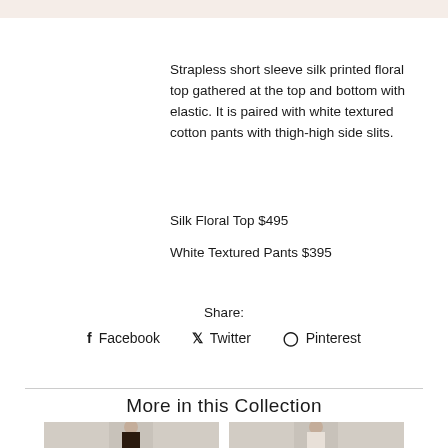Strapless short sleeve silk printed floral top gathered at the top and bottom with elastic. It is paired with white textured cotton pants with thigh-high side slits.
Silk Floral Top $495
White Textured Pants $395
Share:
f Facebook  Twitter  Pinterest
More in this Collection
[Figure (photo): Fashion model wearing collection item, left thumbnail]
[Figure (photo): Fashion model wearing collection item, right thumbnail]